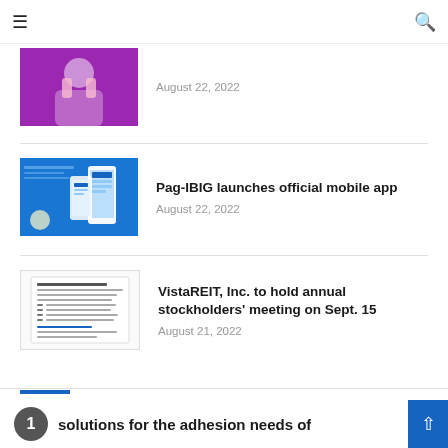[Figure (photo): Thumbnail image of a person covering their face, purple tones]
August 22, 2022
[Figure (photo): Pag-IBIG mobile app promotional image on blue background with phone mockup]
Pag-IBIG launches official mobile app
August 22, 2022
[Figure (photo): VistaREIT document/filing image showing text document]
VistaREIT, Inc. to hold annual stockholders' meeting on Sept. 15
August 21, 2022
solutions for the adhesion needs of